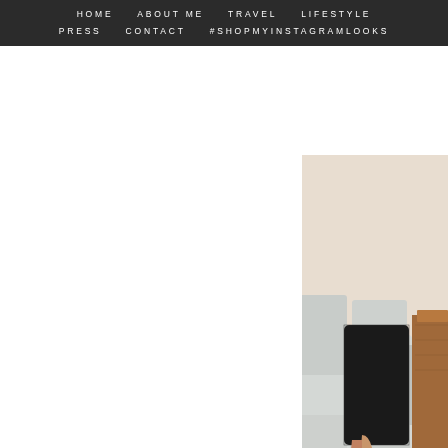HOME   ABOUT ME   TRAVEL   LIFESTYLE   PRESS   CONTACT   #SHOPMYINSTAGRAMLOOKS
[Figure (photo): Woman in black lace dress sitting on a white sofa next to a wooden table, wearing silver sandals. Photo cropped showing legs and lower body.]
Opening my bottle of rosé. Co
[Figure (photo): Light blue toned image, partially visible at bottom of page.]